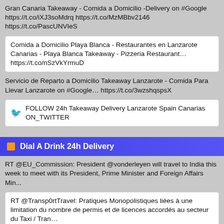Gran Canaria Takeaway - Comida a Domicilio -Delivery on #Google https://t.co/iXJ3soMdrq https://t.co/MzMBbv2146 https://t.co/PascUNVIeS
Comida a Domicilio Playa Blanca - Restaurantes en Lanzarote Canarias - Playa Blanca Takeaway - Pizzeria Restaurant… https://t.co/nSzVkYrmuD
Servicio de Reparto a Domicilio Takeaway Lanzarote - Comida Para Llevar Lanzarote on #Google… https://t.co/3wzshqspsX
FOLLOW 24h Takeaway Delivery Lanzarote Spain Canarias ON_TWITTER
Dial A Drink 24h Delivery
RT @EU_Commission: President @vonderleyen will travel to India this week to meet with its President, Prime Minister and Foreign Affairs Min...
RT @Transp0rtTravel: Pratiques Monopolistiques liées à une limitation du nombre de permis et de licences accordés au secteur du Taxi / Tran…
RT @Transp0rtTravel: Discriminare-Rasism Canaria | Practici de monopol, care se manifestă în mod concret prin limitarea numărului de permis...